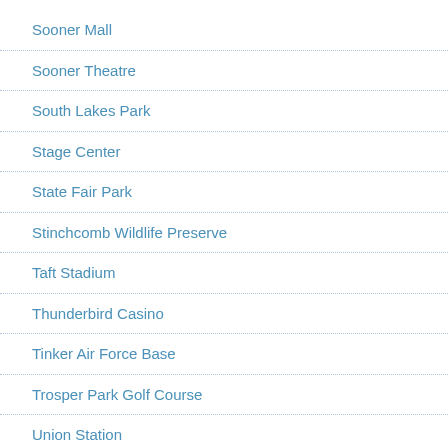Sooner Mall
Sooner Theatre
South Lakes Park
Stage Center
State Fair Park
Stinchcomb Wildlife Preserve
Taft Stadium
Thunderbird Casino
Tinker Air Force Base
Trosper Park Golf Course
Union Station
University of Central Oklahoma (UCO)